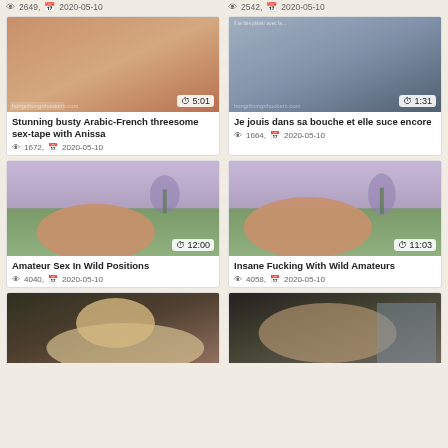👁 2649, 📅 2020-05-10 | 👁 2542, 📅 2020-05-10
[Figure (photo): Video thumbnail - adult content, duration 5:01]
[Figure (photo): Video thumbnail - adult content, duration 1:31]
Stunning busty Arabic-French threesome sex-tape with Anissa
👁 1672, 📅 2020-05-10
Je jouis dans sa bouche et elle suce encore
👁 1664, 📅 2020-05-10
[Figure (photo): Video thumbnail - adult content, duration 12:00]
[Figure (photo): Video thumbnail - adult content, duration 11:03]
Amateur Sex In Wild Positions
👁 4040, 📅 2020-05-10
Insane Fucking With Wild Amateurs
👁 4058, 📅 2020-05-10
[Figure (photo): Video thumbnail - adult content, partial view]
[Figure (photo): Video thumbnail - adult content, partial view]